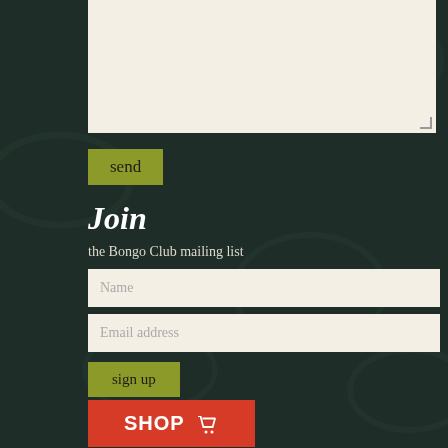[Figure (other): Textarea input field with light cream background, partially visible at top]
send
Join
the Bongo Club mailing list
Name
Email address
sign up
SHOP
links
newsletter